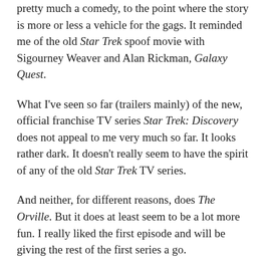pretty much a comedy, to the point where the story is more or less a vehicle for the gags. It reminded me of the old Star Trek spoof movie with Sigourney Weaver and Alan Rickman, Galaxy Quest.
What I've seen so far (trailers mainly) of the new, official franchise TV series Star Trek: Discovery does not appeal to me very much so far. It looks rather dark. It doesn't really seem to have the spirit of any of the old Star Trek TV series.
And neither, for different reasons, does The Orville. But it does at least seem to be a lot more fun. I really liked the first episode and will be giving the rest of the first series a go.
UPDATE: I watched the second episode, and hugely enjoyed it. I love what they've done with the Star Trek idea in this series. It doesn't have the drama, or the emotion, or – if it's not too grandiose a way to put it – the philosophy of the decades-old franchise on which it is based. But it does have